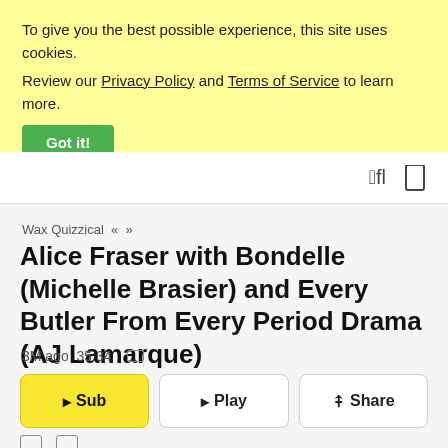To give you the best possible experience, this site uses cookies. Review our Privacy Policy and Terms of Service to learn more. Got it!
fl  [navigation icons]
Wax Quizzical « »
Alice Fraser with Bondelle (Michelle Brasier) and Every Butler From Every Period Drama (AJ Lamarque)
3M ago 35:34
Sub  Play  Share
[icon] [icon]